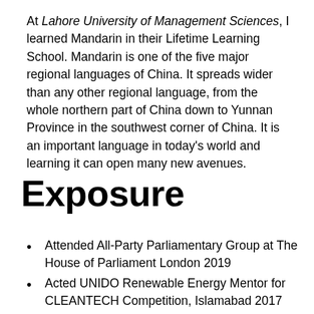At Lahore University of Management Sciences, I learned Mandarin in their Lifetime Learning School. Mandarin is one of the five major regional languages of China. It spreads wider than any other regional language, from the whole northern part of China down to Yunnan Province in the southwest corner of China. It is an important language in today's world and learning it can open many new avenues.
Exposure
Attended All-Party Parliamentary Group at The House of Parliament London 2019
Acted UNIDO Renewable Energy Mentor for CLEANTECH Competition, Islamabad 2017